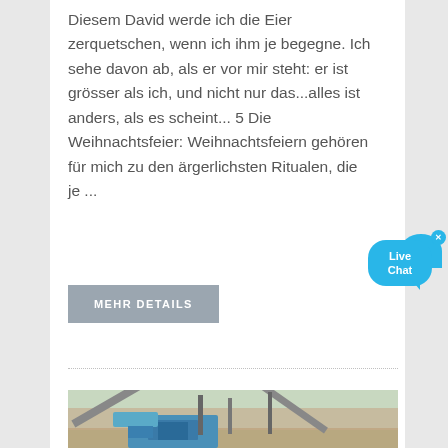Diesem David werde ich die Eier zerquetschen, wenn ich ihm je begegne. Ich sehe davon ab, als er vor mir steht: er ist grösser als ich, und nicht nur das...alles ist anders, als es scheint... 5 Die Weihnachtsfeier: Weihnachtsfeiern gehören für mich zu den ärgerlichsten Ritualen, die je ...
MEHR DETAILS
[Figure (photo): Industrial machinery - blue heavy equipment/crusher at a construction or mining site with conveyor belts and metal framework structures]